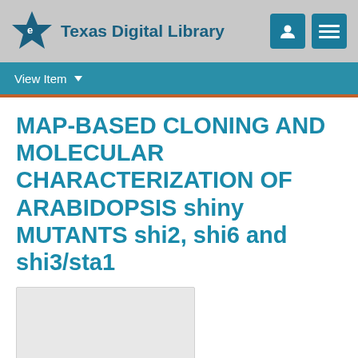[Figure (logo): Texas Digital Library logo with star icon and navigation buttons]
View Item
MAP-BASED CLONING AND MOLECULAR CHARACTERIZATION OF ARABIDOPSIS shiny MUTANTS shi2, shi6 and shi3/sta1
[Figure (photo): Thumbnail image placeholder (light gray box)]